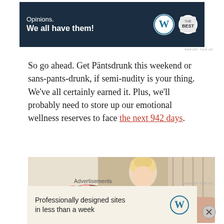[Figure (other): Top advertisement banner: dark navy background with text 'Opinions. We all have them!' in white, WordPress logo and brand logo on right side]
So go ahead. Get Päntsdrunk this weekend or sans-pants-drunk, if semi-nudity is your thing. We've all certainly earned it. Plus, we'll probably need to store up our emotional wellness reserves to face the next 942 days.
[Figure (photo): Woman with blonde hair in an updo wearing a white robe, holding a glass of red wine, seated near a table with pink flowers, in an elegant indoor setting]
Advertisements
[Figure (other): Bottom advertisement banner: light beige background with text 'Professionally designed sites in less than a week' and WordPress logo on right]